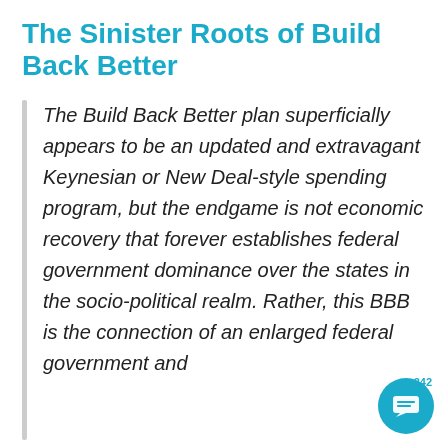The Sinister Roots of Build Back Better
The Build Back Better plan superficially appears to be an updated and extravagant Keynesian or New Deal-style spending program, but the endgame is not economic recovery that forever establishes federal government dominance over the states in the socio-political realm. Rather, this BBB is the connection of an enlarged federal government and